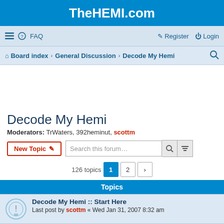TheHEMI.com
FAQ  Register  Login
Board index > General Discussion > Decode My Hemi
Decode My Hemi
Moderators: TrWaters, 392heminut, scottm
New Topic   Search this forum…   126 topics  1  2  >
Topics
Decode My Hemi :: Start Here
Last post by scottm « Wed Jan 31, 2007 8:32 am
Decode Block Numbers
Last post by BlueDjinn « Fri Jul 31, 2020 2:43 pm
Replies: 3
528 Hemi
Last post by SSSN8KE « Mon Sep 23, 2019 5:15 pm